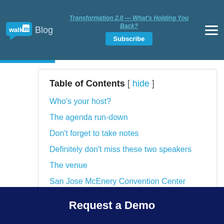WalkMe Blog — Transformation 2.0 — What's Holding You Back? | Subscribe
Table of Contents
Who's your host?
The agenda run-down
Don't forget to take notes
Definitely don't miss these two speakers
The venue
San Jose McEnery Convention Center
Request a Demo